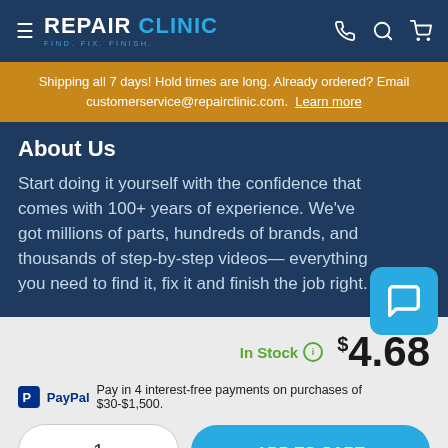REPAIR CLINIC — FIND. FIX. FINISH.
Shipping all 7 days! Hold times are long. Already ordered? Email customerservice@repairclinic.com. Learn more
About Us
Start doing it yourself with the confidence that comes with 100+ years of experience. We've got millions of parts, hundreds of brands, and thousands of step-by-step videos— everything you need to find it, fix it and finish the job right.
In Stock  $4.68
PayPal Pay in 4 interest-free payments on purchases of $30-$1,500.
1
ADD TO CART
Order today, this part ships tomorrow!